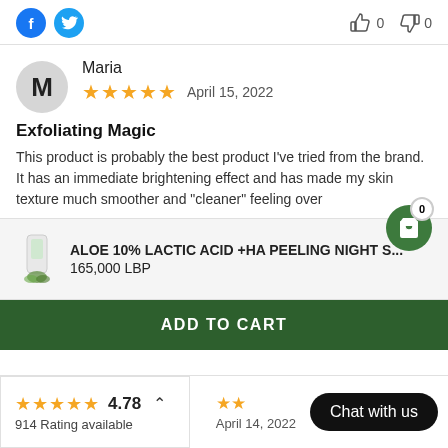[Figure (screenshot): Social media share icons (Facebook and Twitter) on the left, thumbs up (0) and thumbs down (0) vote buttons on the right]
[Figure (screenshot): Reviewer avatar circle with letter M, reviewer name Maria, 5 star rating, date April 15 2022]
Exfoliating Magic
This product is probably the best product I've tried from the brand. It has an immediate brightening effect and has made my skin texture much smoother and "cleaner" feeling over
[Figure (screenshot): Product bar showing ALOE 10% LACTIC ACID +HA PEELING NIGHT S... priced at 165,000 LBP with product image]
ADD TO CART
4.78
914 Rating available
Chat with us
April 14, 2022